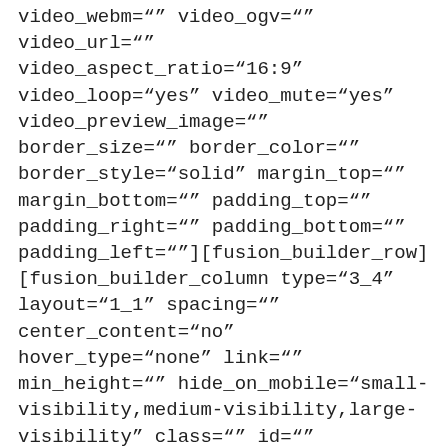video_webm="" video_ogv="" video_url="" video_aspect_ratio="16:9" video_loop="yes" video_mute="yes" video_preview_image="" border_size="" border_color="" border_style="solid" margin_top="" margin_bottom="" padding_top="" padding_right="" padding_bottom="" padding_left=""][fusion_builder_row] [fusion_builder_column type="3_4" layout="1_1" spacing="" center_content="no" hover_type="none" link="" min_height="" hide_on_mobile="small-visibility,medium-visibility,large-visibility" class="" id="" background_color="" background_image="" background_position="left top" background_repeat="" no_repeat"